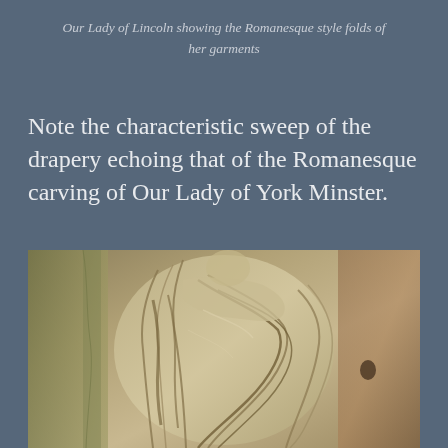Our Lady of Lincoln showing the Romanesque style folds of her garments
Note the characteristic sweep of the drapery echoing that of the Romanesque carving of Our Lady of York Minster.
[Figure (photo): Photograph of a Romanesque stone carving showing draped garments with characteristic sweeping folds, likely a carving of Our Lady of York Minster, showing detailed linear fold patterns in the stone drapery.]